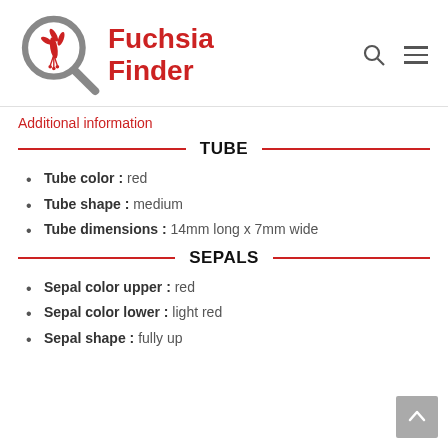[Figure (logo): Fuchsia Finder logo with a magnifying glass containing a fuchsia flower illustration in red, and the text 'Fuchsia Finder' in red bold font]
Additional information
TUBE
Tube color : red
Tube shape : medium
Tube dimensions : 14mm long x 7mm wide
SEPALS
Sepal color upper : red
Sepal color lower : light red
Sepal shape : fully up